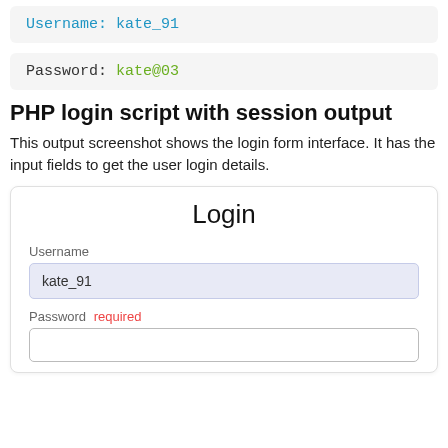[Figure (screenshot): Code output box showing: Username: kate_91 in cyan color]
[Figure (screenshot): Code output box showing: Password: kate@03 in green color]
PHP login script with session output
This output screenshot shows the login form interface. It has the input fields to get the user login details.
[Figure (screenshot): Login form UI with title 'Login', Username field filled with kate_91, Password field with 'required' error label and empty input box]